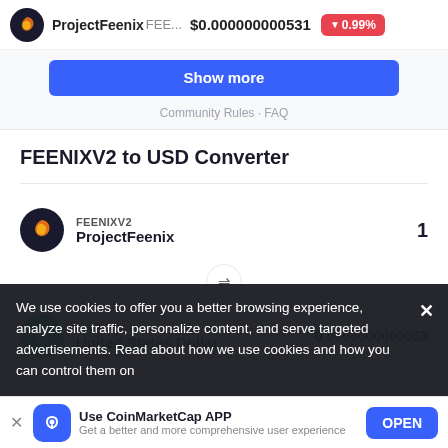ProjectFeenix FEE... $0.000000000531 ▼0.99%
Show more
Community Rules · FAQ
FEENIXV2 to USD Converter
FEENIXV2
ProjectFeenix
1
USD
United States Dollar
0.0000000000053
We use cookies to offer you a better browsing experience, analyze site traffic, personalize content, and serve targeted advertisements. Read about how we use cookies and how you can control them on
Use CoinMarketCap APP
Get a better and more comprehensive user experience
OPEN